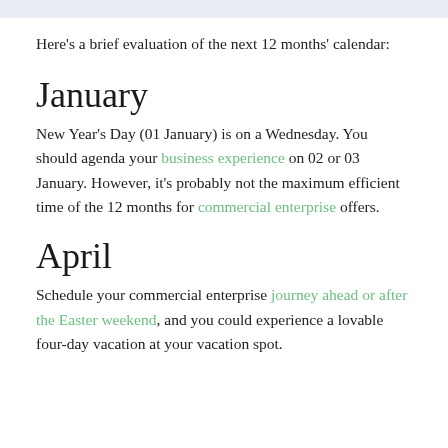Here's a brief evaluation of the next 12 months' calendar:
January
New Year's Day (01 January) is on a Wednesday. You should agenda your business experience on 02 or 03 January. However, it's probably not the maximum efficient time of the 12 months for commercial enterprise offers.
April
Schedule your commercial enterprise journey ahead or after the Easter weekend, and you could experience a lovable four-day vacation at your vacation spot.